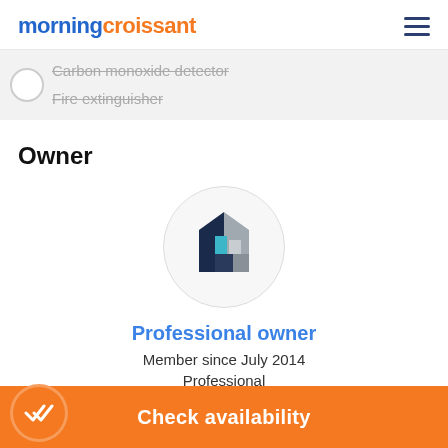morningcroissant
Carbon monoxide detector
Fire extinguisher
Owner
[Figure (logo): Circular avatar with a house/building logo mark in dark navy, teal, and grey colors]
Professional owner
Member since July 2014
Professional
Check availability